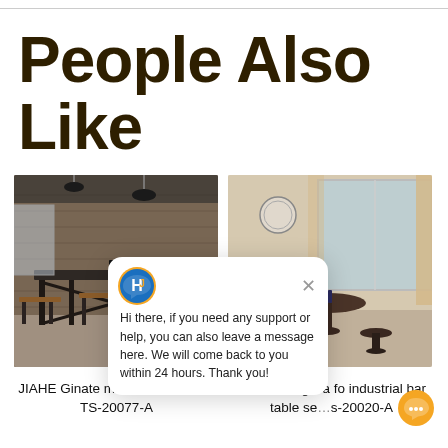People Also Like
[Figure (photo): Industrial metal bar table set with stools in front of a brick wall, pendant lamps overhead, moody bar setting]
[Figure (photo): Round industrial bar table with stools in a bright interior room with large windows]
Hi there, if you need any support or help, you can also leave a message here. We will come back to you within 24 hours. Thank you!
JIAHE Ginate metal bar table set TS-20077-A
JIAHE Gregilea fo industrial bar table set TS-20020-A